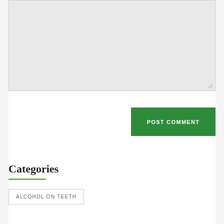[Figure (screenshot): Light gray textarea input box with resize handle at bottom-right corner]
POST COMMENT
Categories
ALCOHOL ON TEETH